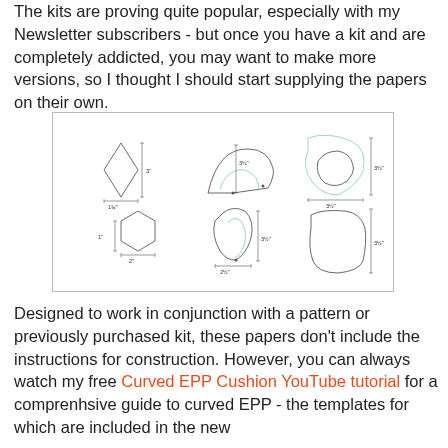The kits are proving quite popular, especially with my Newsletter subscribers - but once you have a kit and are completely addicted, you may want to make more versions, so I thought I should start supplying the papers on their own.
[Figure (illustration): Technical diagram showing six sewing/EPP template shapes with measurements: a diamond (3", 1¾"), a fan/clamshell (3½"), a curved fan shape (3½"), a hexagon (2", 1"), a curved petal/leaf shape (3½", 2½"), and a rounded trapezoid (3½"). All shapes are shown as outlines with dimension arrows.]
Designed to work in conjunction with a pattern or previously purchased kit, these papers don't include the instructions for construction. However, you can always watch my free Curved EPP Cushion YouTube tutorial for a comprenhsive guide to curved EPP - the templates for which are included in the new